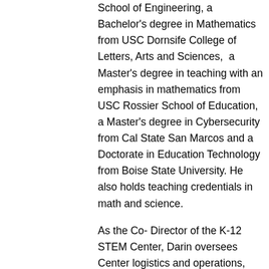School of Engineering, a Bachelor's degree in Mathematics from USC Dornsife College of Letters, Arts and Sciences,  a Master's degree in teaching with an emphasis in mathematics from USC Rossier School of Education, a Master's degree in Cybersecurity from Cal State San Marcos and a Doctorate in Education Technology from Boise State University. He also holds teaching credentials in math and science.
As the Co- Director of the K-12 STEM Center, Darin oversees Center logistics and operations, supervises STEM outreach to K-12 students, forges new partnerships with STEM organizations